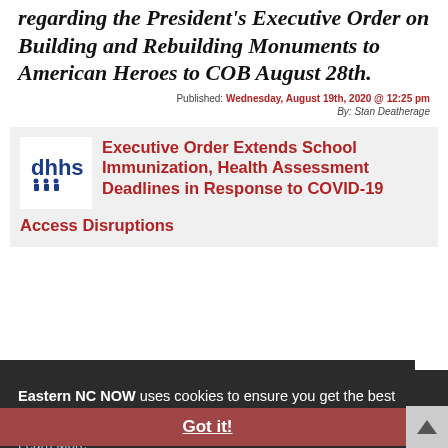regarding the President's Executive Order on Building and Rebuilding Monuments to American Heroes to COB August 28th.
Published: Wednesday, August 19th, 2020 @ 12:25 pm
By: Stan Deatherage
[Figure (screenshot): Eastern NC NOW article card with DHHS logo and headline: Executive Order Extends School Immunization, Health Assessment Deadlines in Response to COVID-19 Access Disruptions]
Eastern NC NOW uses cookies to ensure you get the best experience on our website. Learn More
Got it!